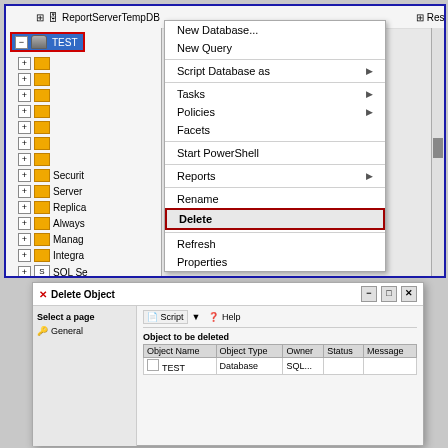[Figure (screenshot): SQL Server Management Studio Object Explorer showing a right-click context menu on the TEST database with options: New Database..., New Query, Script Database as, Tasks, Policies, Facets, Start PowerShell, Reports, Rename, Delete (highlighted with red box), Refresh, Properties. The TEST database node is highlighted in the tree with a red box around it.]
[Figure (screenshot): Delete Object dialog box in SQL Server Management Studio showing: title 'Delete Object', left panel with 'Select a page' header and 'General' item, right panel with Script and Help toolbar buttons, 'Object to be deleted' section with a table showing columns Object Name, Object Type, Owner, Status, Message and one row for TEST Database SQL...]